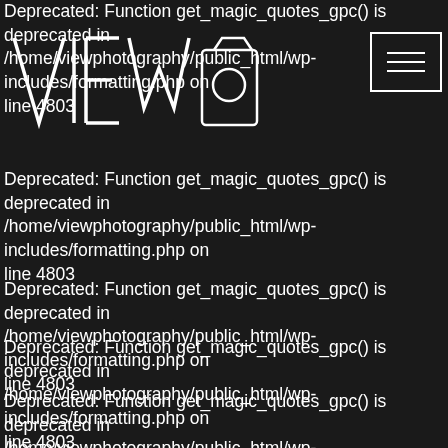Deprecated: Function get_magic_quotes_gpc() is deprecated in /home/viewphotography/public_html/wp-includes/formatting.php on line 4803
[Figure (logo): VIEW Photography logo with large outlined letters V, I, E, W and a camera icon outline]
Deprecated: Function get_magic_quotes_gpc() is deprecated in /home/viewphotography/public_html/wp-includes/formatting.php on line 4803
Deprecated: Function get_magic_quotes_gpc() is deprecated in /home/viewphotography/public_html/wp-includes/formatting.php on line 4803
Deprecated: Function get_magic_quotes_gpc() is deprecated in /home/viewphotography/public_html/wp-includes/formatting.php on line 4803
Deprecated: Function get_magic_quotes_gpc() is deprecated in /home/viewphotography/public_html/wp-includes/formatting.php on line 4803